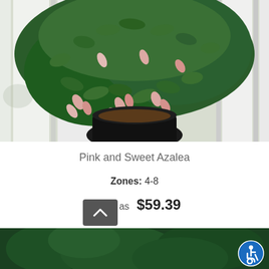[Figure (photo): Photo of a Pink and Sweet Azalea plant with pink flowers in a black pot against a white fence background]
Pink and Sweet Azalea
Zones: 4-8
As low as  $59.39
[Figure (photo): Partial photo of green foliage at the bottom of the page, with a scroll-to-top button and accessibility icon overlaid]